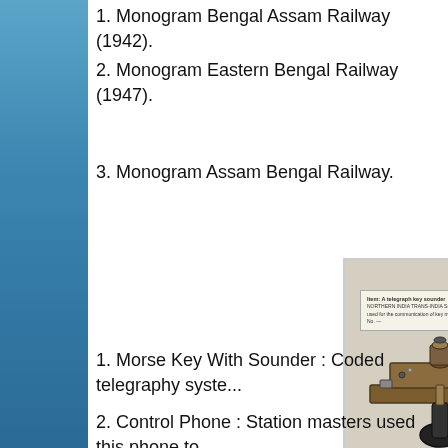1. Monogram Bengal Assam Railway (1942).
2. Monogram Eastern Bengal Railway (1947).
3. Monogram Assam Bengal Railway.
[Figure (photo): A Morse telegraph key with sounder device, brass and metal construction, mounted on a base, displayed in what appears to be a museum setting with a label card visible behind it.]
1. Morse Key With Sounder : Coded telegraphy syste...
2. Control Phone : Station masters used this phone to...